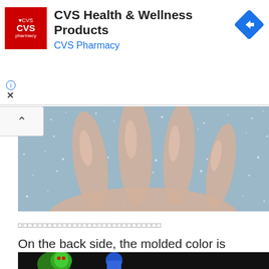[Figure (other): CVS Pharmacy advertisement banner with red CVS logo, text 'CVS Health & Wellness Products / CVS Pharmacy', blue diamond arrow icon, info and close icons]
[Figure (photo): Close-up photo of fingers touching a glittery/sparkly gray-blue fabric or material surface]
□□□□□□□□□□□□□□□□□□□□□□□□□□□□
On the back side, the molded color is exposed. The aurora lame glitters and shines.
[Figure (photo): Partial photo at bottom showing colorful toys/figures on dark background]